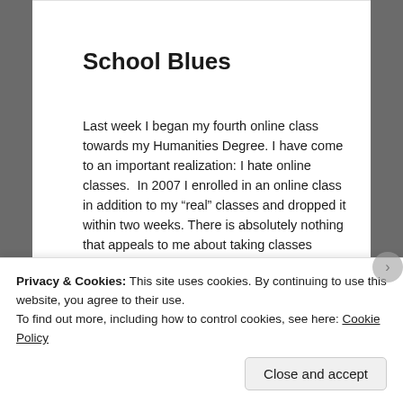School Blues
Last week I began my fourth online class towards my Humanities Degree. I have come to an important realization: I hate online classes.  In 2007 I enrolled in an online class in addition to my “real” classes and dropped it within two weeks. There is absolutely nothing that appeals to me about taking classes online....
May 21, 2012 in All Posts, Writing as Therapy.
Privacy & Cookies: This site uses cookies. By continuing to use this website, you agree to their use.
To find out more, including how to control cookies, see here: Cookie Policy